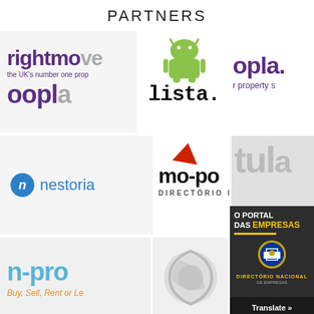PARTNERS
[Figure (logo): Rightmove logo - purple text 'rightmo' with tagline 'the UKs number one prop' and 'oopl' below]
[Figure (logo): Lista logo with Android robot mascot and pixel-font 'lista.' text]
[Figure (logo): Oopla logo - purple text 'opla.' with 'r property s' tagline]
[Figure (logo): Nestoria logo - blue circle with 'n' and blue text 'nestoria']
[Figure (logo): Mo-po logo with red flag icon, bold text 'mo-po' and 'DIRECTÓRIO IMOBIL' tagline]
[Figure (logo): Partial gray logo with large letters 'tul']
[Figure (logo): n-pro logo in light blue with orange tagline 'Buy, Sell, Rent or Le']
[Figure (logo): Partial circular logo on gray background]
[Figure (logo): O Portal das Empresas - dark background with yellow accents, Portuguese shield, 'DIRECTÓRIO NACIONAL DE EMPRESAS' and 'Translate »' button]